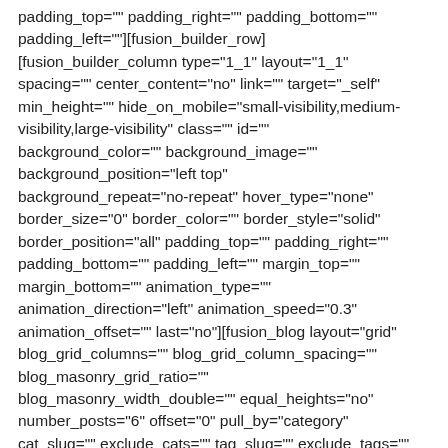padding_top="" padding_right="" padding_bottom="" padding_left=""][fusion_builder_row] [fusion_builder_column type="1_1" layout="1_1" spacing="" center_content="no" link="" target="_self" min_height="" hide_on_mobile="small-visibility,medium-visibility,large-visibility" class="" id="" background_color="" background_image="" background_position="left top" background_repeat="no-repeat" hover_type="none" border_size="0" border_color="" border_style="solid" border_position="all" padding_top="" padding_right="" padding_bottom="" padding_left="" margin_top="" margin_bottom="" animation_type="" animation_direction="left" animation_speed="0.3" animation_offset="" last="no"][fusion_blog layout="grid" blog_grid_columns="" blog_grid_column_spacing="" blog_masonry_grid_ratio="" blog_masonry_width_double="" equal_heights="no" number_posts="6" offset="0" pull_by="category" cat_slug="" exclude_cats="" tag_slug="" exclude_tags=""